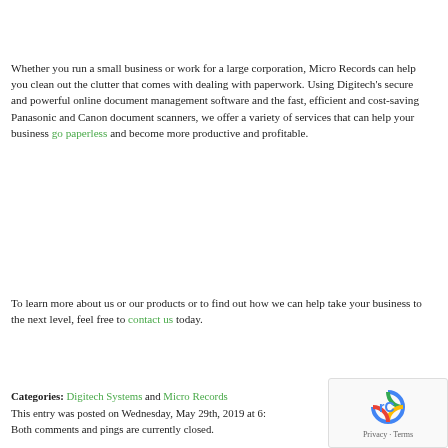Whether you run a small business or work for a large corporation, Micro Records can help you clean out the clutter that comes with dealing with paperwork. Using Digitech's secure and powerful online document management software and the fast, efficient and cost-saving Panasonic and Canon document scanners, we offer a variety of services that can help your business go paperless and become more productive and profitable.
To learn more about us or our products or to find out how we can help take your business to the next level, feel free to contact us today.
Categories: Digitech Systems and Micro Records
This entry was posted on Wednesday, May 29th, 2019 at 6:...
Both comments and pings are currently closed.